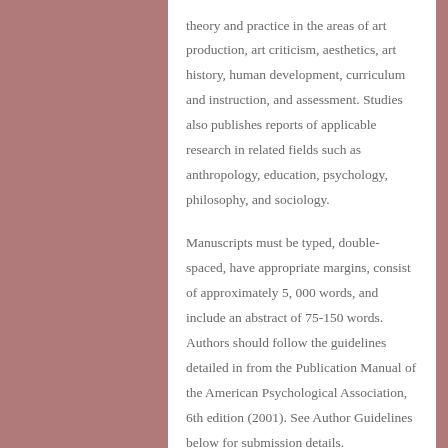theory and practice in the areas of art production, art criticism, aesthetics, art history, human development, curriculum and instruction, and assessment. Studies also publishes reports of applicable research in related fields such as anthropology, education, psychology, philosophy, and sociology.
Manuscripts must be typed, double-spaced, have appropriate margins, consist of approximately 5, 000 words, and include an abstract of 75-150 words. Authors should follow the guidelines detailed in from the Publication Manual of the American Psychological Association, 6th edition (2001). See Author Guidelines below for submission details.
All manuscripts go through a blind review